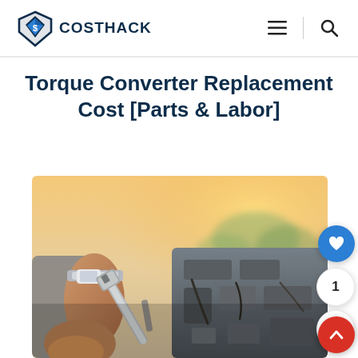COSTHACK
Torque Converter Replacement Cost [Parts & Labor]
[Figure (photo): Close-up of a mechanic's hands using a wrench on a car engine, with warm sunlit bokeh background. The mechanic is wearing a watch.]